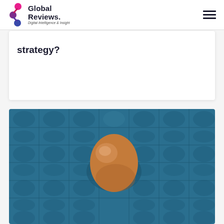Global Reviews. Digital Intelligence & Insight
strategy?
[Figure (photo): A single brown egg sitting in a blue cardboard egg carton, photographed from above against the textured blue carton background.]